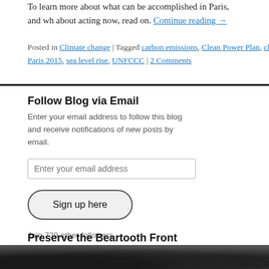To learn more about what can be accomplished in Paris, and why about acting now, read on. Continue reading →
Posted in Climate change | Tagged carbon emissions, Clean Power Plan, cli… Paris 2015, sea level rise, UNFCCC | 2 Comments
Follow Blog via Email
Enter your email address to follow this blog and receive notifications of new posts by email.
Enter your email address
Sign up here
Join 739 other followers
Preserve the Beartooth Front
[Figure (photo): Partial photo at bottom of page, appears to be a dark landscape]